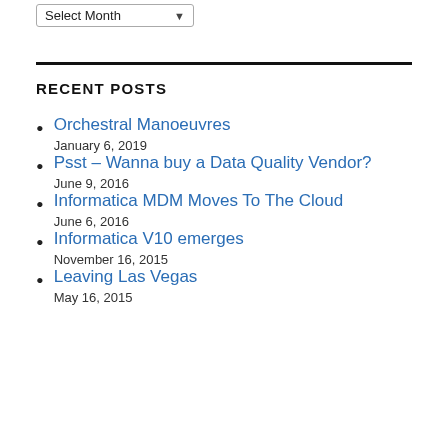Select Month
RECENT POSTS
Orchestral Manoeuvres
January 6, 2019
Psst – Wanna buy a Data Quality Vendor?
June 9, 2016
Informatica MDM Moves To The Cloud
June 6, 2016
Informatica V10 emerges
November 16, 2015
Leaving Las Vegas
May 16, 2015